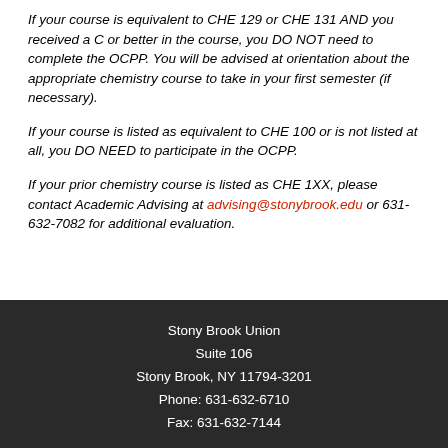If your course is equivalent to CHE 129 or CHE 131 AND you received a C or better in the course, you DO NOT need to complete the OCPP. You will be advised at orientation about the appropriate chemistry course to take in your first semester (if necessary).
If your course is listed as equivalent to CHE 100 or is not listed at all, you DO NEED to participate in the OCPP.
If your prior chemistry course is listed as CHE 1XX, please contact Academic Advising at advising@stonybrook.edu or 631-632-7082 for additional evaluation.
Stony Brook Union
Suite 106
Stony Brook, NY 11794-3201
Phone: 631-632-6710
Fax: 631-632-7144